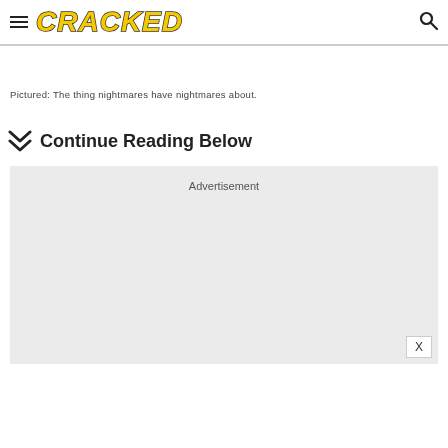CRACKED
Pictured: The thing nightmares have nightmares about.
Continue Reading Below
[Figure (other): Advertisement placeholder box with light gray background and 'Advertisement' label]